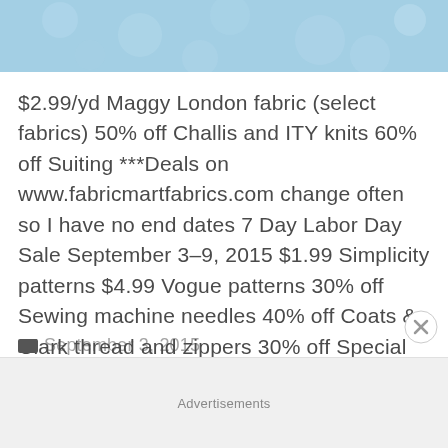[Figure (illustration): Blue textured banner image at top of page]
$2.99/yd Maggy London fabric (select fabrics) 50% off Challis and ITY knits 60% off Suiting ***Deals on www.fabricmartfabrics.com change often so I have no end dates 7 Day Labor Day Sale September 3-9, 2015 $1.99 Simplicity patterns $4.99 Vogue patterns 30% off Sewing machine needles 40% off Coats & Clark thread and zippers 30% off Special occasion fabrics 50% off [...]
Advertisements